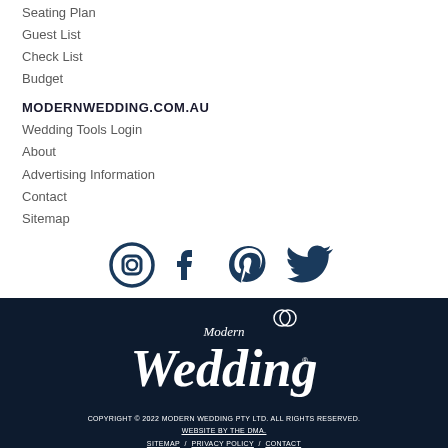Seating Plan
Guest List
Check List
Budget
MODERNWEDDING.COM.AU
Wedding Tools Login
About
Advertising Information
Contact
Sitemap
[Figure (logo): Social media icons: Instagram, Facebook, Pinterest, Twitter in dark navy blue]
[Figure (logo): Modern Wedding logo in white on dark navy background]
COPYRIGHT © 2022 MODERN WEDDING PTY LTD. ALL RIGHTS RESERVED. WEBSITE BY THE DMA. SITEMAP / PRIVACY POLICY / CONTACT OUR OTHER BRANDS: LUXURY WEDDING BLOG / SYDNEY WEDDING BLOG